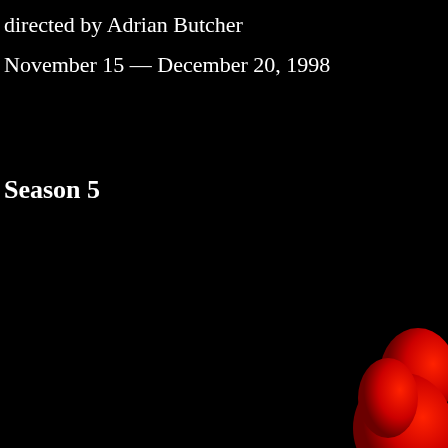directed by Adrian Butcher
November 15 — December 20, 1998
Season 5
[Figure (illustration): A red silhouette or partial figure visible in the lower-right corner against a black background]